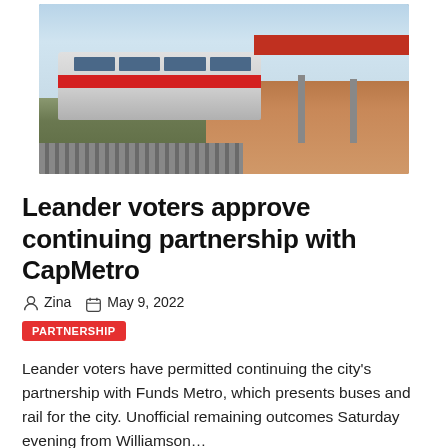[Figure (photo): A red and gray commuter train at a station platform with a covered canopy. Tracks visible on the left, station platform with brick/wood flooring on the right. Sky visible in background.]
Leander voters approve continuing partnership with CapMetro
Zina   May 9, 2022
PARTNERSHIP
Leander voters have permitted continuing the city's partnership with Funds Metro, which presents buses and rail for the city. Unofficial remaining outcomes Saturday evening from Williamson…